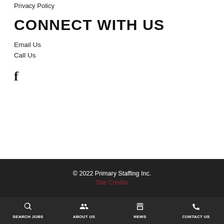Privacy Policy
CONNECT WITH US
Email Us
Call Us
[Figure (logo): Facebook icon (f)]
© 2022 Primary Staffing Inc.
Site Credits
SEARCH JOBS  ABOUT US  NEWS  CONTACT US